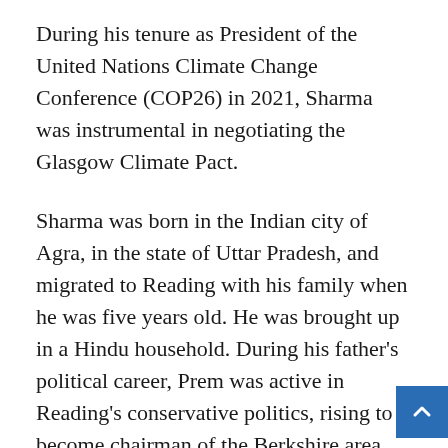During his tenure as President of the United Nations Climate Change Conference (COP26) in 2021, Sharma was instrumental in negotiating the Glasgow Climate Pact.
Sharma was born in the Indian city of Agra, in the state of Uttar Pradesh, and migrated to Reading with his family when he was five years old. He was brought up in a Hindu household. During his father's political career, Prem was active in Reading's conservative politics, rising to become chairman of the Berkshire area Conservatives before assisting in the formation of the Conservative Parliamentary Friends of India.